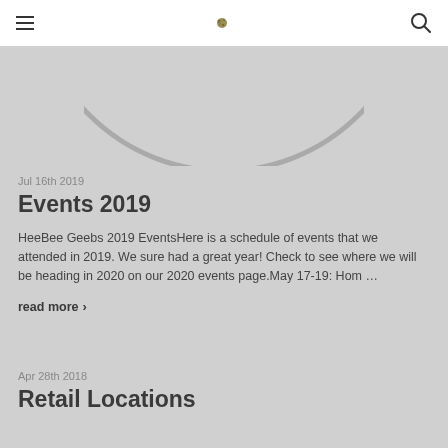☰  [logo]  🔍
[Figure (illustration): Bottom portion of a large circle arc visible at the top of the page, gray stroke on gray background]
Jul 16th 2019
Events 2019
HeeBee Geebs 2019 EventsHere is a schedule of events that we attended in 2019. We sure had a great year!  Check to see where we will be heading in 2020 on our 2020 events page.May 17-19: Hom …
read more ›
Apr 28th 2018
Retail Locations